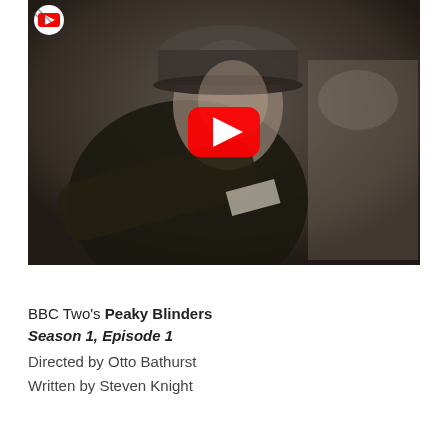[Figure (screenshot): YouTube video thumbnail showing a man in a flat cap from BBC Two's Peaky Blinders, with a red YouTube play button overlay in the center and a YouTube logo in the top-left corner. A black bar appears at the bottom of the video player.]
BBC Two's Peaky Blinders
Season 1, Episode 1
Directed by Otto Bathurst
Written by Steven Knight